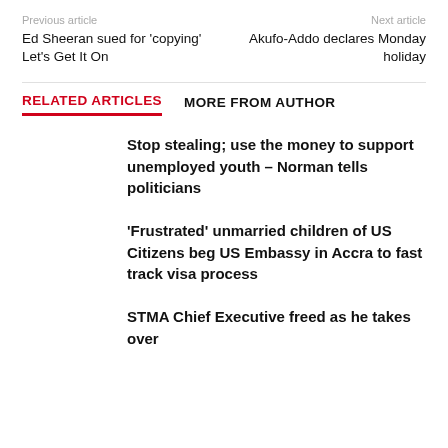Previous article    Next article
Ed Sheeran sued for 'copying' Let's Get It On
Akufo-Addo declares Monday holiday
RELATED ARTICLES    MORE FROM AUTHOR
Stop stealing; use the money to support unemployed youth – Norman tells politicians
'Frustrated' unmarried children of US Citizens beg US Embassy in Accra to fast track visa process
STMA Chief Executive freed as he takes over